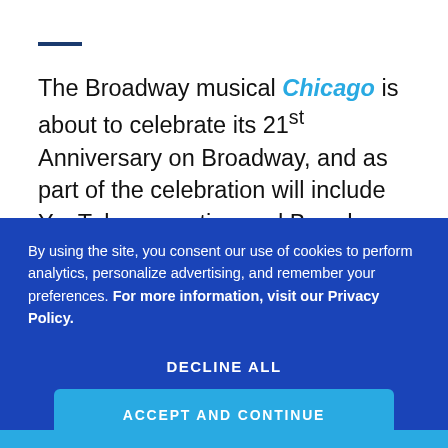The Broadway musical Chicago is about to celebrate its 21st Anniversary on Broadway, and as part of the celebration will include YouTube sensation and Broadway star Todrick Hall, joining the production as Billy Flynn. Hall will be with the production at the Ambassador Theatre for seven-weeks only, from November 30, 2017 to January 14, 2018. Tony Award nominee Tom Hewitt will play his final
By using the site, you consent our use of cookies to perform analytics, personalize advertising, and remember your preferences. For more information, visit our Privacy Policy.
DECLINE ALL
ACCEPT AND CONTINUE